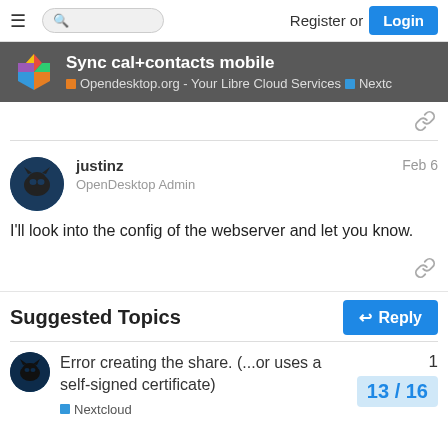Register or Login
Sync cal+contacts mobile
Opendesktop.org - Your Libre Cloud Services · Nextc
justinz  Feb 6
OpenDesktop Admin
I'll look into the config of the webserver and let you know.
Suggested Topics
Error creating the share. (...or uses a self-signed certificate)
Nextcloud
1
13 / 16